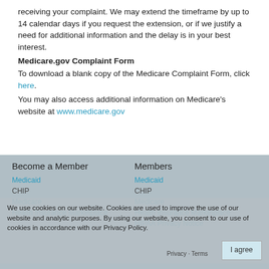receiving your complaint. We may extend the timeframe by up to 14 calendar days if you request the extension, or if we justify a need for additional information and the delay is in your best interest.
Medicare.gov Complaint Form
To download a blank copy of the Medicare Complaint Form, click here.
You may also access additional information on Medicare's website at www.medicare.gov
Become a Member | Members | Medicaid | CHIP | Medicare | Health Insurance Marketplace | HIPAA Privacy Notice
We use cookies on our website. Cookies are used to improve the use of our website and analytic purposes. By using our website, you consent to our use of cookies in accordance with our Privacy Policy.